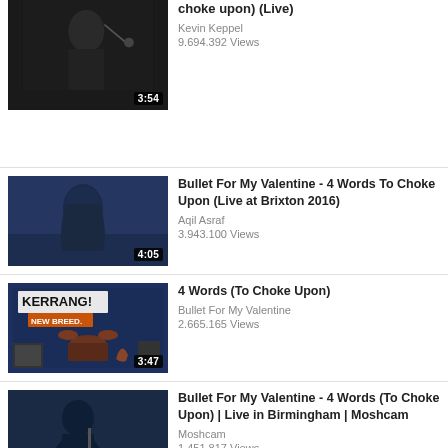choke upon) (Live) | Kevin Keppel | 9.694.392 Views | 3:54
Bullet For My Valentine - 4 Words To Choke Upon (Live at Brixton 2016) | Aqil Asraf | 3.943.100 Views | 4:05
4 Words (To Choke Upon) | Bullet For My Valentine | 2.665.165 Views | 3:47
Bullet For My Valentine - 4 Words (To Choke Upon) | Live in Birmingham | Moshcam | Moshcam | 1.451.817 Views | 3:58
Bullet For My Valentine - Hand Of...